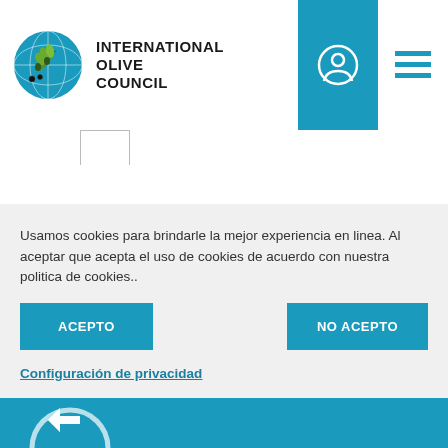[Figure (logo): International Olive Council logo with globe and olive branch, alongside text INTERNATIONAL OLIVE COUNCIL]
Usamos cookies para brindarle la mejor experiencia en linea. Al aceptar que acepta el uso de cookies de acuerdo con nuestra politica de cookies..
ACEPTO
NO ACEPTO
Configuración de privacidad